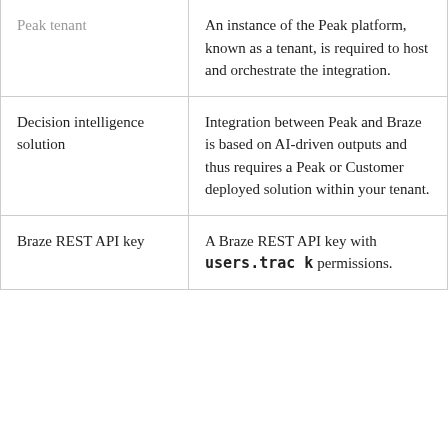| Requirement | Description |
| --- | --- |
| Peak tenant | An instance of the Peak platform, known as a tenant, is required to host and orchestrate the integration. |
| Decision intelligence solution | Integration between Peak and Braze is based on AI-driven outputs and thus requires a Peak or Customer deployed solution within your tenant. |
| Braze REST API key | A Braze REST API key with users.track permissions. |
This website uses cookies. Some cookies are necessary to make our site work, and others are optional, allowing us to analyze site usage, personalize content, and tailor marketing. By continuing to use our site, you agree to these cookies. You can find more information in our Cookie Policy or change your settings with our Cookie Consent Manager. Cookie Policy
Cookie Consent Manager
Integration
The Peak solution customer intelligence utilizes a model to predict a range of forward-looking attributes